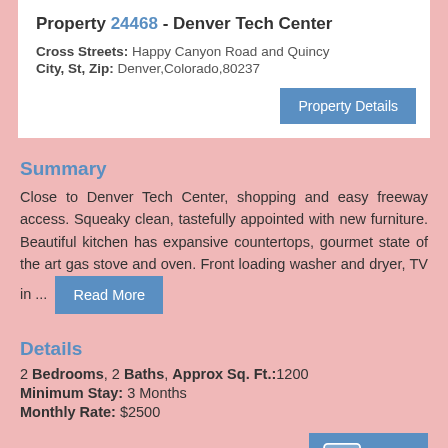Property 24468 - Denver Tech Center
Cross Streets: Happy Canyon Road and Quincy
City, St, Zip: Denver,Colorado,80237
Summary
Close to Denver Tech Center, shopping and easy freeway access. Squeaky clean, tastefully appointed with new furniture. Beautiful kitchen has expansive countertops, gourmet state of the art gas stove and oven. Front loading washer and dryer, TV in ...
Details
2 Bedrooms, 2 Baths, Approx Sq. Ft.:1200
Minimum Stay: 3 Months
Monthly Rate: $2500